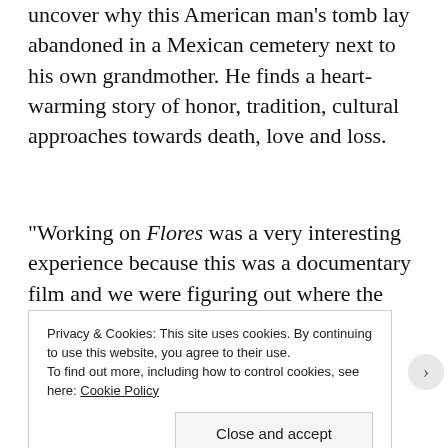uncover why this American man's tomb lay abandoned in a Mexican cemetery next to his own grandmother. He finds a heart-warming story of honor, tradition, cultural approaches towards death, love and loss.
“Working on Flores was a very interesting experience because this was a documentary film and we were figuring out where the story was going as we were shooting it,” said Garza. “We would follow storylines that would take us to very interesting and personal places.”
Privacy & Cookies: This site uses cookies. By continuing to use this website, you agree to their use.
To find out more, including how to control cookies, see here: Cookie Policy
Close and accept